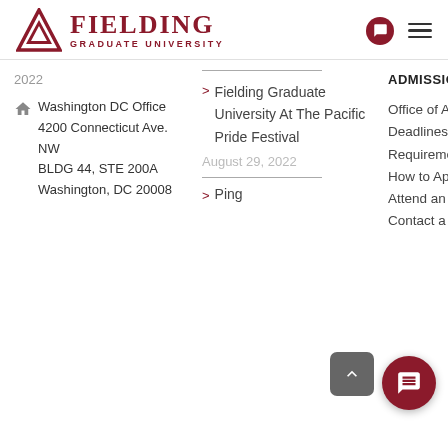Fielding Graduate University
2022
Washington DC Office 4200 Connecticut Ave. NW BLDG 44, STE 200A Washington, DC 20008
Fielding Graduate University At The Pacific Pride Festival
August 29, 2022
Ping
ADMISSIONS
Office of Admissions
Deadlines & Requirements
How to Apply
Attend an Info Session
Contact a Advisor